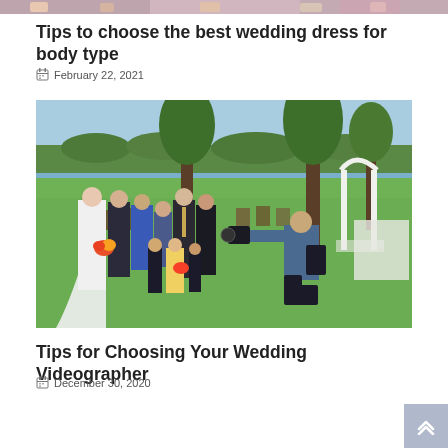[Figure (photo): Partial top strip of a wedding image, cropped at the very top of the page]
Tips to choose the best wedding dress for body type
📅 February 22, 2021
[Figure (photo): Wedding group photo outdoors on a green lawn near a lake. A photographer kneels on the right photographing the wedding party which includes a bride in a white dress, groom, family members including children in formal attire, with trees and a white arch in the background.]
Tips for Choosing Your Wedding Videographer
📅 December 30, 2020